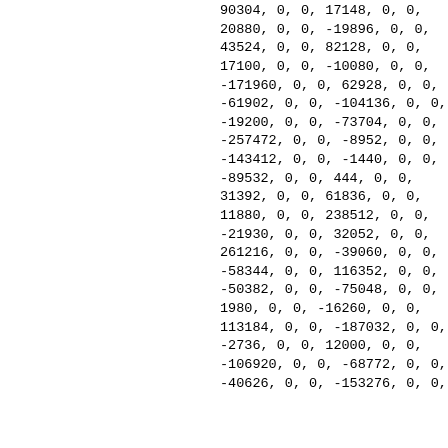90304, 0, 0, 17148, 0, 0,
20880, 0, 0, -19896, 0, 0,
43524, 0, 0, 82128, 0, 0,
17100, 0, 0, -10080, 0, 0,
-171960, 0, 0, 62928, 0, 0,
-61902, 0, 0, -104136, 0, 0,
-19200, 0, 0, -73704, 0, 0,
-257472, 0, 0, -8952, 0, 0,
-143412, 0, 0, -1440, 0, 0,
-89532, 0, 0, 444, 0, 0,
31392, 0, 0, 61836, 0, 0,
11880, 0, 0, 238512, 0, 0,
-21930, 0, 0, 32052, 0, 0,
261216, 0, 0, -39060, 0, 0,
-58344, 0, 0, 116352, 0, 0,
-50382, 0, 0, -75048, 0, 0,
1980, 0, 0, -16260, 0, 0,
113184, 0, 0, -187032, 0, 0,
-2736, 0, 0, 12000, 0, 0,
-106920, 0, 0, -68772, 0, 0,
-40626, 0, 0, -153276, 0, 0,